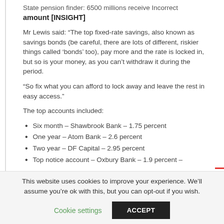State pension finder: 6500 millions receive Incorrect amount [INSIGHT]
Mr Lewis said: “The top fixed-rate savings, also known as savings bonds (be careful, there are lots of different, riskier things called ‘bonds’ too), pay more and the rate is locked in, but so is your money, as you can’t withdraw it during the period.
“So fix what you can afford to lock away and leave the rest in easy access.”
The top accounts included:
Six month – Shawbrook Bank – 1.75 percent
One year – Atom Bank – 2.6 percent
Two year – DF Capital – 2.95 percent
Top notice account – Oxbury Bank – 1.9 percent –
This website uses cookies to improve your experience. We’ll assume you’re ok with this, but you can opt-out if you wish.